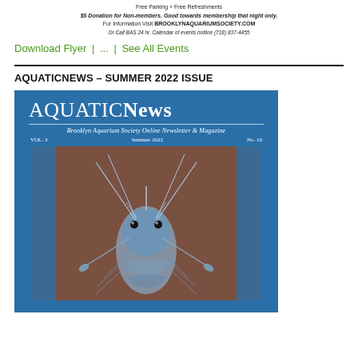Free Parking + Free Refreshments
$5 Donation for Non-members. Good towards membership that night only.
For Information Visit BROOKLYNAQUARIUMSOCIETY.COM
Or Call BAS 24 hr. Calendar of events hotline (718) 837-4455
Download Flyer | ... | See All Events
AQUATICNEWS – SUMMER 2022 ISSUE
[Figure (illustration): Cover of AquaticNews magazine, Summer 2022, Vol. 3, No. 10. Blue background with 'AquaticNews' title, subtitle 'Brooklyn Aquarium Society Online Newsletter & Magazine', and a close-up photo of a freshwater shrimp or crayfish.]